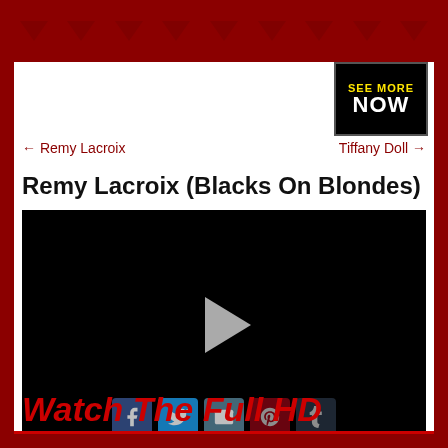[Figure (other): Red decorative border with dark red downward-pointing arrow/chevron shapes across the top]
[Figure (other): Black button with 'SEE MORE' in yellow and 'NOW' in white text]
← Remy Lacroix
Tiffany Doll →
Remy Lacroix (Blacks On Blondes)
[Figure (screenshot): Black video player with a white play button triangle in the center, social share icons (Facebook, Twitter, Email, Pinterest, Tumblr) at the bottom]
Watch The Full HD